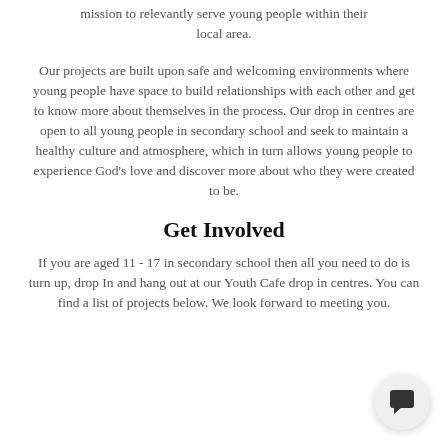mission to relevantly serve young people within their local area.
Our projects are built upon safe and welcoming environments where young people have space to build relationships with each other and get to know more about themselves in the process. Our drop in centres are open to all young people in secondary school and seek to maintain a healthy culture and atmosphere, which in turn allows young people to experience God's love and discover more about who they were created to be.
Get Involved
If you are aged 11 - 17 in secondary school then all you need to do is turn up, drop In and hang out at our Youth Cafe drop in centres. You can find a list of projects below. We look forward to meeting you.